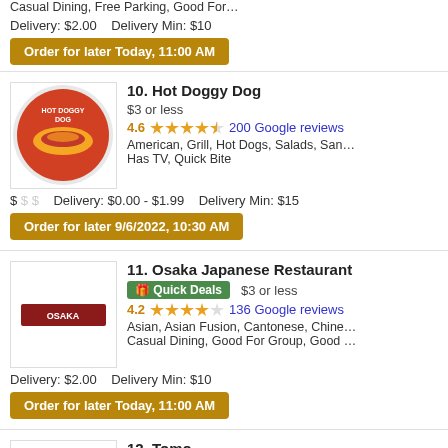Casual Dining, Free Parking, Good For Kids, Halal Options, Has ... Delivery: $2.00  Delivery Min: $10
Order for later Today, 11:00 AM
10. Hot Doggy Dog
$3 or less
4.6  200 Google reviews
American, Grill, Hot Dogs, Salads, Sandwiches, Steak, Wings, Wr... Has TV, Quick Bite
$ $ $  Delivery: $0.00 - $1.99  Delivery Min: $15
Order for later 9/6/2022, 10:30 AM
11. Osaka Japanese Restaurant
Quick Deals  $3 or less
4.2  136 Google reviews
Asian, Asian Fusion, Cantonese, Chinese, Dessert, Japanese, N... Casual Dining, Good For Group, Good For Kids, Healthy Options...
Delivery: $2.00  Delivery Min: $10
Order for later Today, 11:00 AM
12. Tomo
$3 or less
4.2  125 Google reviews
Chicken, Coffee and Tea, Japanese, Salads, Seafood, Soup, Sus...